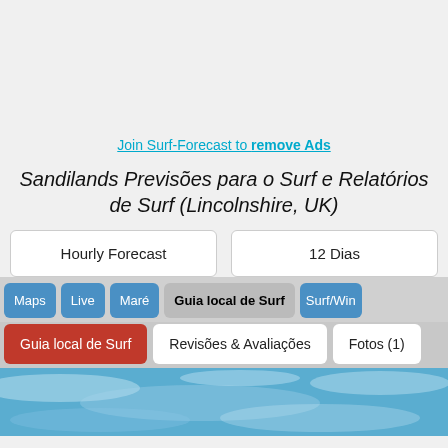[Figure (other): Gray advertisement placeholder area at top of page]
Join Surf-Forecast to remove Ads
Sandilands Previsões para o Surf e Relatórios de Surf (Lincolnshire, UK)
Hourly Forecast
12 Dias
Maps
Live
Maré
Guia local de Surf
Surf/Win
Guia local de Surf
Revisões & Avaliações
Fotos (1)
[Figure (photo): Ocean/surf water background image at bottom of page]